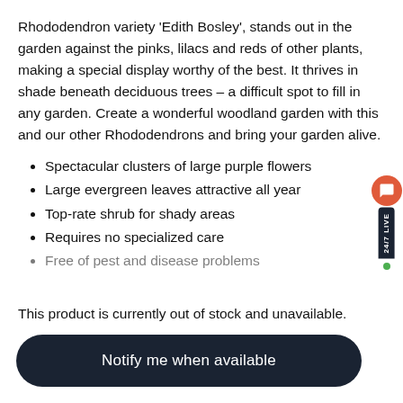Rhododendron variety 'Edith Bosley', stands out in the garden against the pinks, lilacs and reds of other plants, making a special display worthy of the best. It thrives in shade beneath deciduous trees – a difficult spot to fill in any garden. Create a wonderful woodland garden with this and our other Rhododendrons and bring your garden alive.
Spectacular clusters of large purple flowers
Large evergreen leaves attractive all year
Top-rate shrub for shady areas
Requires no specialized care
Free of pest and disease problems
This product is currently out of stock and unavailable.
Notify me when available